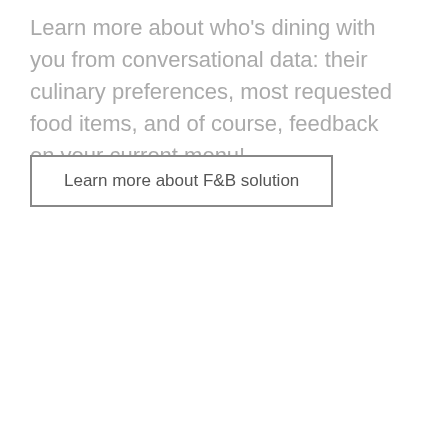Learn more about who's dining with you from conversational data: their culinary preferences, most requested food items, and of course, feedback on your current menu!
Learn more about F&B solution